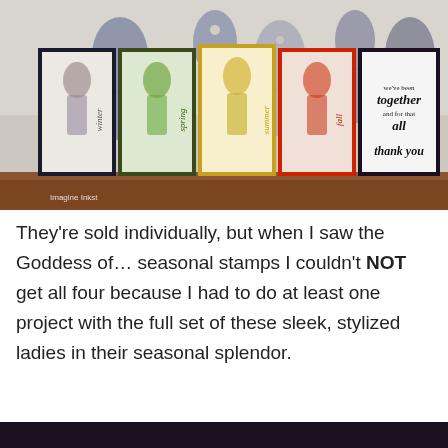[Figure (photo): Five greeting cards fanned out on a wooden table, each featuring a seasonal goddess stamp in different colors (winter=grey, spring=green, summer=yellow, fall=red, plus a thank you card). Decorative goddess figurines stand behind the cards. A watermark reads 'Imagine Inkst'.]
They're sold individually, but when I saw the Goddess of… seasonal stamps I couldn't NOT get all four because I had to do at least one project with the full set of these sleek, stylized ladies in their seasonal splendor.